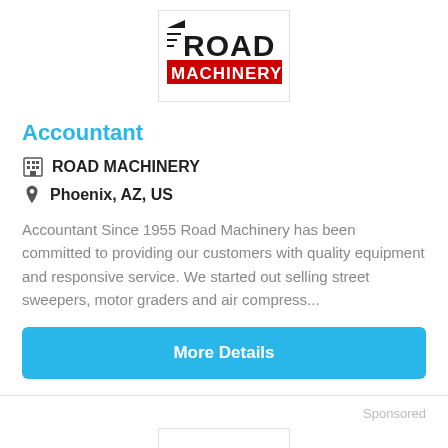[Figure (logo): Road Machinery company logo — black text ROAD with red bar MACHINERY and a speed-stripe graphic]
Accountant
ROAD MACHINERY
Phoenix, AZ, US
Accountant Since 1955 Road Machinery has been committed to providing our customers with quality equipment and responsive service. We started out selling street sweepers, motor graders and air compress...
More Details
Sponsored